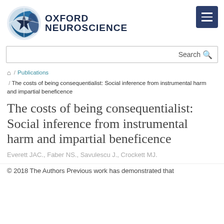[Figure (logo): Oxford Neuroscience logo with circular brain/globe icon in blue and a hamburger menu button in dark navy blue]
Search
🏠 / Publications / The costs of being consequentialist: Social inference from instrumental harm and impartial beneficence
The costs of being consequentialist: Social inference from instrumental harm and impartial beneficence
Everett JAC., Faber NS., Savulescu J., Crockett MJ.
© 2018 The Authors Previous work has demonstrated that